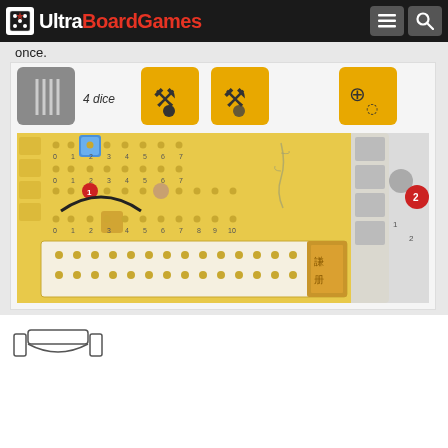UltraBoardGames
once.
[Figure (screenshot): Board game screenshot showing a game board with dice, tokens, and a track. Shows '4 dice' label with various game pieces, yellow game board with numbered tracks, movement tokens, and game resource icons on the right side.]
[Figure (illustration): Small partial illustration at bottom left showing a game component or token icon]